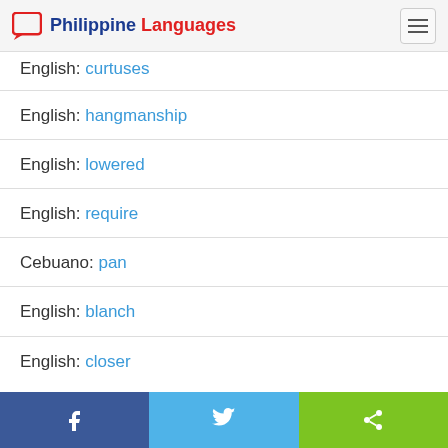Philippine Languages
English: curtuses
English: hangmanship
English: lowered
English: require
Cebuano: pan
English: blanch
English: closer
Facebook | Twitter | Share